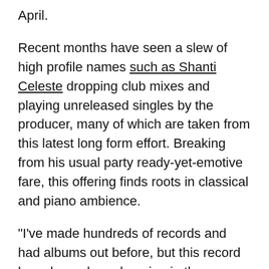April.
Recent months have seen a slew of high profile names such as Shanti Celeste dropping club mixes and playing unreleased singles by the producer, many of which are taken from this latest long form effort. Breaking from his usual party ready-yet-emotive fare, this offering finds roots in classical and piano ambience.
“I’ve made hundreds of records and had albums out before, but this record has always been brewing in the background. It’s been gestating my whole life, but the execution of it has been very quick. I really feel like a new artist,” Cole said.
“This isn’t just me sitting down at the piano and writing something nice and ambient, I’m coming at it